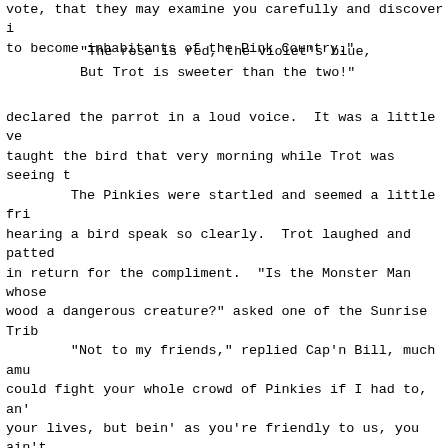vote, that they may examine you carefully and discover i to become inhabitants of the Pink Country."
"The rose is red, the violet's blue,
 But Trot is sweeter than the two!"
declared the parrot in a loud voice.  It was a little ve taught the bird that very morning while Trot was seeing t
        The Pinkies were startled and seemed a little fr hearing a bird speak so clearly.  Trot laughed and patted in return for the compliment.  "Is the Monster Man whose wood a dangerous creature?" asked one of the Sunrise Tri
        "Not to my friends," replied Cap'n Bill, much amu could fight your whole crowd of Pinkies if I had to, an' your lives, but bein' as you're friendly to us, you ain't The sailor thought this speech was diplomatic and might trouble," but the Pinkies seemed uneasy, and several of t their slender, pointed sticks and held them in their hand cowardly, but it was evident they mistrusted the big man, not considered big at all, but rather undersized.
        "What we'd like," said Trot, "is to stay here, co till we can find a way to get home to the Earth again.  Y much nicer than the Blue Country, and we like you pretty we've seen of you, so if you'll let us stay, we won't be to you than we can help."
        They all gazed upon the little girl curiously, ar said, "How strangely light her color is!  And it is pink, her favor.  But her eyes are of that dreadful blue tint w the other half of Sky Island, while her hair is a queer c us.  She is not like our people and would not harmonize